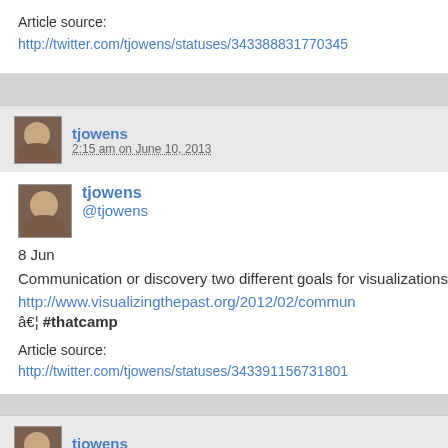Article source:
http://twitter.com/tjowens/statuses/343388831770345...
tjowens
2:15 am on June 10, 2013
tjowens
@tjowens
8 Jun
Communication or discovery two different goals for visualizations in scholarship http://www.visualizingthepast.org/2012/02/commun â€¦ #thatcamp
Article source:
http://twitter.com/tjowens/statuses/343391156731801...
tjowens
2:15 am on June 10, 2013